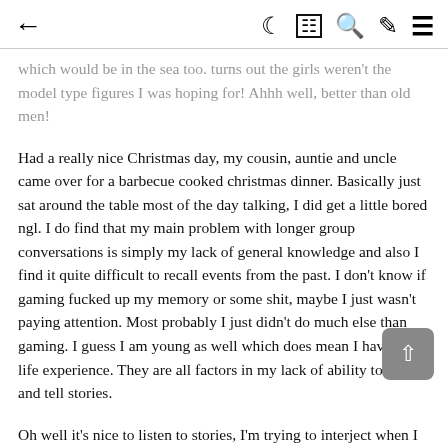← ☽ 📰 🔍 ✏️ ☰
which would be in the sea too. turns out the girls weren't the model type figures I was hoping for! Ahhh well, better than old men!
Had a really nice Christmas day, my cousin, auntie and uncle came over for a barbecue cooked christmas dinner. Basically just sat around the table most of the day talking, I did get a little bored ngl. I do find that my main problem with longer group conversations is simply my lack of general knowledge and also I find it quite difficult to recall events from the past. I don't know if gaming fucked up my memory or some shit, maybe I just wasn't paying attention. Most probably I just didn't do much else than gaming. I guess I am young as well which does mean I have less life experience. They are all factors in my lack of ability to relate and tell stories.
Oh well it's nice to listen to stories, I'm trying to interject when I do have some input but half the time nothing springs to mind. And I know this is the case and I'm not just dismissing thoughts that pop into my mind. I'm quite aware when this happens due to my meditation practice.